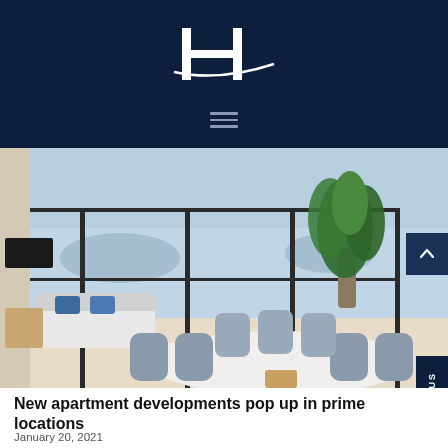[Figure (logo): Stylized letter H logo in white serif font with a horizontal swoosh line, on dark navy background, with hamburger menu icon below]
[Figure (photo): Interior photo of a modern luxury apartment with a large dining table and chairs in foreground, large floor-to-ceiling windows with city skyline view, tropical plant, and living area in background]
New apartment developments pop up in prime locations
January 20, 2021
Located in the new CBD in Maroochydore, this Sunshine Cost...